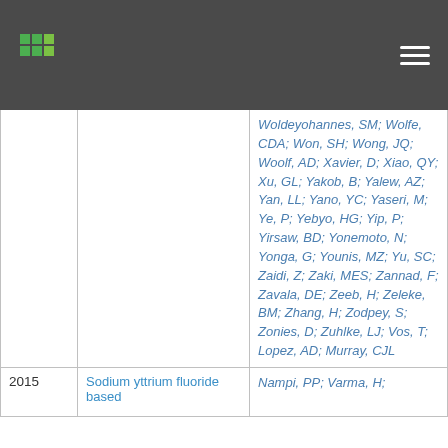| Year | Title | Authors |
| --- | --- | --- |
|  |  | Woldeyohannes, SM; Wolfe, CDA; Won, SH; Wong, JQ; Woolf, AD; Xavier, D; Xiao, QY; Xu, GL; Yakob, B; Yalew, AZ; Yan, LL; Yano, YC; Yaseri, M; Ye, P; Yebyo, HG; Yip, P; Yirsaw, BD; Yonemoto, N; Yonga, G; Younis, MZ; Yu, SC; Zaidi, Z; Zaki, MES; Zannad, F; Zavala, DE; Zeeb, H; Zeleke, BM; Zhang, H; Zodpey, S; Zonies, D; Zuhlke, LJ; Vos, T; Lopez, AD; Murray, CJL |
| 2015 | Sodium yttrium fluoride based | Nampi, PP; Varma, H; |